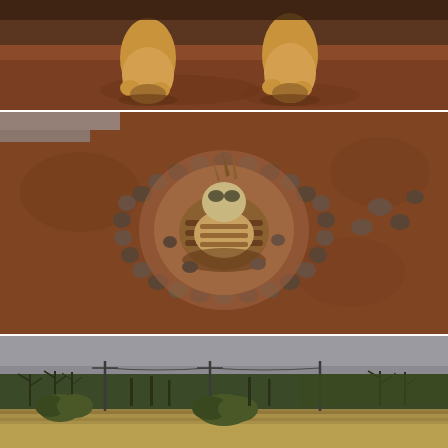[Figure (photo): Top panel: Close-up of an animal's paws/feet (lion or similar large cat) on reddish-brown dirt ground. Only the lower legs and paws are visible.]
[Figure (photo): Middle panel: A dead animal (appears to be a turtle or similar creature with striped shell/scales) lying in the center of a ring of rounded stones arranged in a circle on reddish-brown sandy ground. The remains appear partially decomposed.]
[Figure (photo): Bottom panel: African savanna landscape with sparse dry grass in the foreground, scattered shrubs and bare trees in the middle ground, and a line of denser trees in the background under an overcast grey sky.]